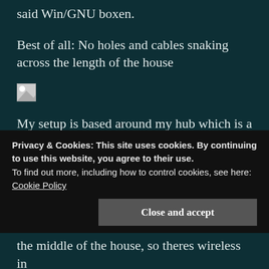said Win/GNU boxen.
Best of all: No holes and cables snaking across the length of the house
[Figure (other): Broken/missing image placeholder icon]
My setup is based around my hub which is a simple 10/100 8port hub. The smoothwall firewall protects the network just like in Daves network, but I also put personal firewalls on
Privacy & Cookies: This site uses cookies. By continuing to use this website, you agree to their use.
To find out more, including how to control cookies, see here:
Cookie Policy
the middle of the house, so theres wireless in